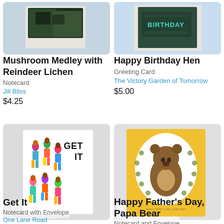[Figure (photo): Partial view of Mushroom Medley with Reindeer Lichen notecard with forest imagery]
Mushroom Medley with Reindeer Lichen
Notecard
Jill Bliss
$4.25
[Figure (photo): Partial view of Happy Birthday Hen greeting card with dark green background and teal BIRTHDAY text]
Happy Birthday Hen
Greeting Card
The Victory Garden of Tomorrow
$5.00
[Figure (photo): Get It notecard with colorful people figures exercising on white card with envelope]
Get It
Notecard with Envelope
One Lane Road
[Figure (photo): Happy Father's Day Papa Bear notecard on yellow background with bear wearing wreath illustration]
Happy Father's Day, Papa Bear
Notecard and Envelope